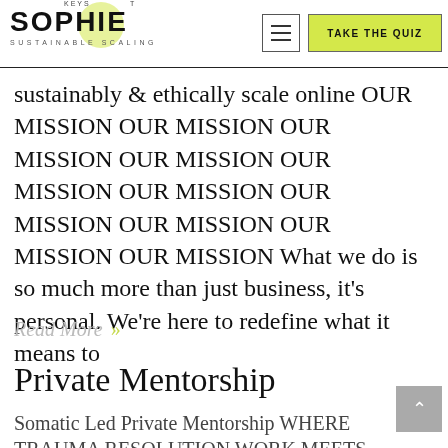SOPHIE SUSTAINABLE SCALING | TAKE THE QUIZ
sustainably & ethically scale online OUR MISSION OUR MISSION OUR MISSION OUR MISSION OUR MISSION OUR MISSION OUR MISSION OUR MISSION OUR MISSION OUR MISSION What we do is so much more than just business, it's personal. We're here to redefine what it means to
Read More »
Private Mentorship
Somatic Led Private Mentorship WHERE TRAUMA RESOLUTION WORK MEETS